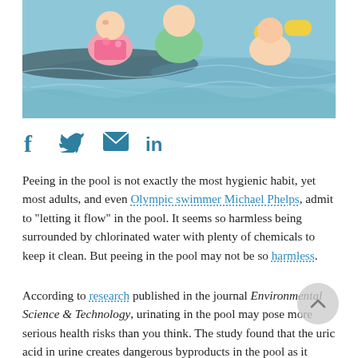[Figure (photo): Children swimming in a pool wearing colorful swimwear and inflatable arm bands]
[Figure (infographic): Social media sharing icons: Facebook (f), Twitter (bird), Email (envelope), LinkedIn (in)]
Peeing in the pool is not exactly the most hygienic habit, yet most adults, and even Olympic swimmer Michael Phelps, admit to “letting it flow” in the pool. It seems so harmless being surrounded by chlorinated water with plenty of chemicals to keep it clean. But peeing in the pool may not be so harmless.
According to research published in the journal Environmental Science & Technology, urinating in the pool may pose more serious health risks than you think. The study found that the uric acid in urine creates dangerous byproducts in the pool as it interacts with the chlorine. These byproducts, cyanogen chloride (CNCl) and